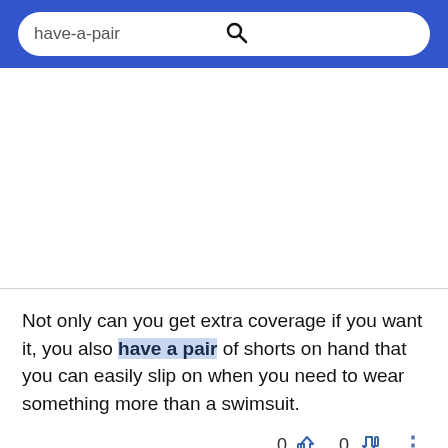have-a-pair
Not only can you get extra coverage if you want it, you also have a pair of shorts on hand that you can easily slip on when you need to wear something more than a swimsuit.